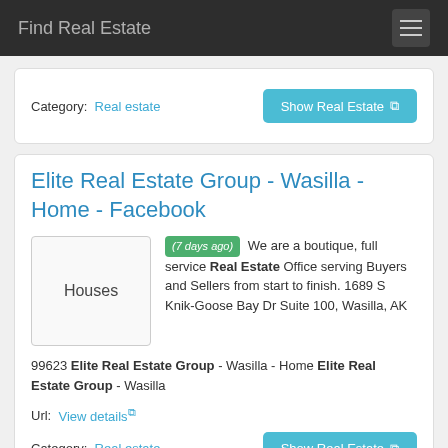Find Real Estate
Category: Real estate
Show Real Estate
Elite Real Estate Group - Wasilla - Home - Facebook
(7 days ago) We are a boutique, full service Real Estate Office serving Buyers and Sellers from start to finish. 1689 S Knik-Goose Bay Dr Suite 100, Wasilla, AK 99623 Elite Real Estate Group - Wasilla - Home Elite Real Estate Group - Wasilla
Url: View details
Category: Real estate
Show Real Estate